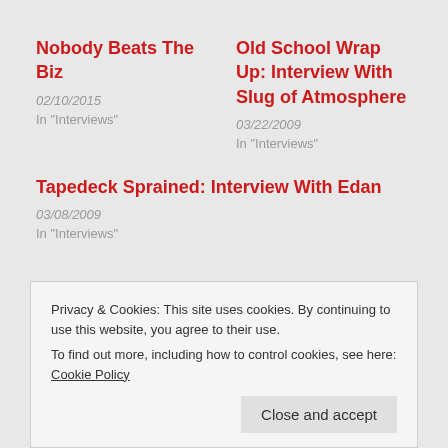Nobody Beats The Biz
02/10/2015
In "Interviews"
Old School Wrap Up: Interview With Slug of Atmosphere
03/22/2009
In "Interviews"
Tapedeck Sprained: Interview With Edan
03/08/2009
In "Interviews"
Privacy & Cookies: This site uses cookies. By continuing to use this website, you agree to their use.
To find out more, including how to control cookies, see here: Cookie Policy